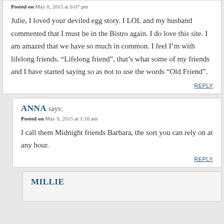Posted on May 8, 2015 at 6:07 pm
Julie, I loved your deviled egg story. I LOL and my husband commented that I must be in the Bistro again. I do love this site. I am amazed that we have so much in common. I feel I’m with lifelong friends. “Lifelong friend”, that’s what some of my friends and I have started saying so as not to use the words “Old Friend”.
REPLY
ANNA says:
Posted on May 9, 2015 at 1:16 am
I call them Midnight friends Barbara, the sort you can rely on at any hour.
REPLY
MILLIE